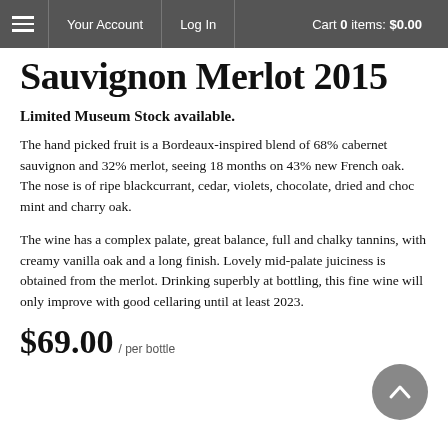Your Account   Log In   Cart 0 items: $0.00
Sauvignon Merlot 2015
Limited Museum Stock available.
The hand picked fruit is a Bordeaux-inspired blend of 68% cabernet sauvignon and 32% merlot, seeing 18 months on 43% new French oak. The nose is of ripe blackcurrant, cedar, violets, chocolate, dried and choc mint and charry oak.
The wine has a complex palate, great balance, full and chalky tannins, with creamy vanilla oak and a long finish. Lovely mid-palate juiciness is obtained from the merlot. Drinking superbly at bottling, this fine wine will only improve with good cellaring until at least 2023.
$69.00 / per bottle